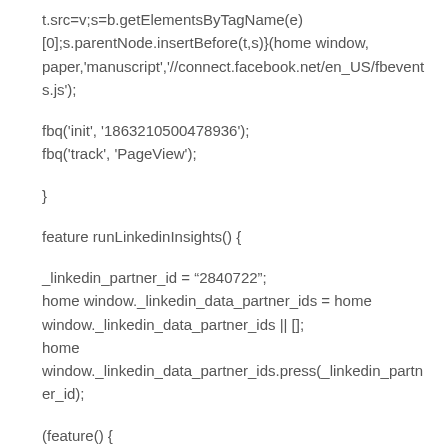t.src=v;s=b.getElementsByTagName(e)
[0];s.parentNode.insertBefore(t,s)}(home window,
paper,'manuscript','//connect.facebook.net/en_US/fbevents.js');
fbq('init', '1863210500478936');
fbq('track', 'PageView');
}
feature runLinkedinInsights() {
_linkedin_partner_id = “2840722”;
home window._linkedin_data_partner_ids = home
window._linkedin_data_partner_ids || [];
home
window._linkedin_data_partner_ids.press(_linkedin_partner_id);
(feature() {